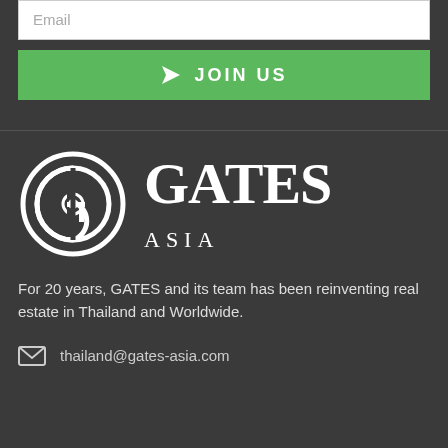Email
JOIN US
[Figure (logo): Gates Asia logo with circular G emblem and GATES ASIA text in white on dark background]
For 20 years, GATES and its team has been reinventing real estate in Thailand and Worldwide.
thailand@gates-asia.com